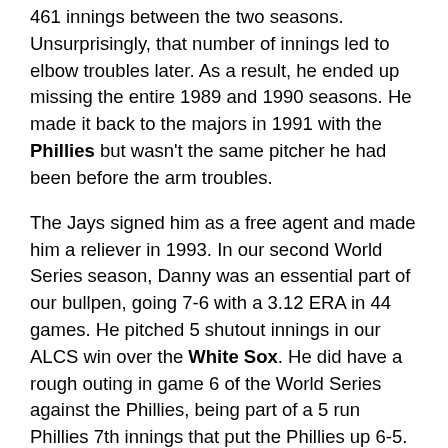461 innings between the two seasons. Unsurprisingly, that number of innings led to elbow troubles later. As a result, he ended up missing the entire 1989 and 1990 seasons. He made it back to the majors in 1991 with the Phillies but wasn't the same pitcher he had been before the arm troubles.
The Jays signed him as a free agent and made him a reliever in 1993. In our second World Series season, Danny was an essential part of our bullpen, going 7-6 with a 3.12 ERA in 44 games. He pitched 5 shutout innings in our ALCS win over the White Sox. He did have a rough outing in game 6 of the World Series against the Phillies, being part of a 5 run Phillies 7th innings that put the Phillies up 6-5. But that just set things up for Joe Carter to hit the most significant home run in Jays' history, so we can forgive him.